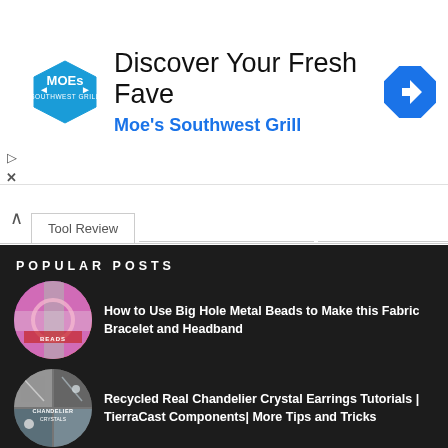[Figure (infographic): Moe's Southwest Grill advertisement banner with logo, navigation icon, and text 'Discover Your Fresh Fave / Moe's Southwest Grill']
Tool Review
POPULAR POSTS
How to Use Big Hole Metal Beads to Make this Fabric Bracelet and Headband
Recycled Real Chandelier Crystal Earrings Tutorials | TierraCast Components| More Tips and Tricks